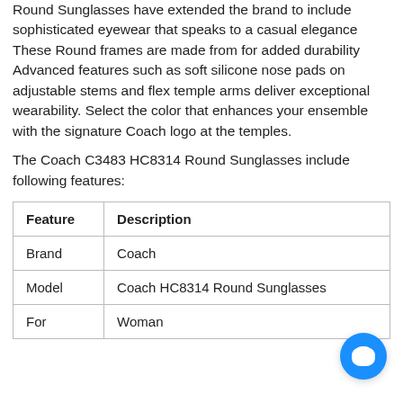Round Sunglasses have extended the brand to include sophisticated eyewear that speaks to a casual elegance These Round frames are made from for added durability Advanced features such as soft silicone nose pads on adjustable stems and flex temple arms deliver exceptional wearability. Select the color that enhances your ensemble with the signature Coach logo at the temples.
The Coach C3483 HC8314 Round Sunglasses include following features:
| Feature | Description |
| --- | --- |
| Brand | Coach |
| Model | Coach HC8314 Round Sunglasses |
| For | Woman |